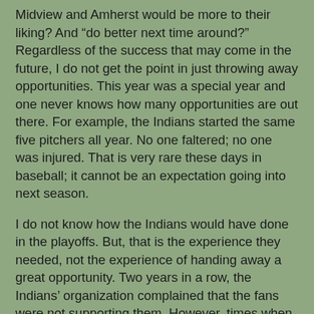Midview and Amherst would be more to their liking?  And “do better next time around?”  Regardless of the success that may come in the future, I do not get the point in just throwing away opportunities.  This year was a special year and one never knows how many opportunities are out there.  For example, the Indians started the same five pitchers all year.  No one faltered; no one was injured.  That is very rare these days in baseball; it cannot be an expectation going into next season.
I do not know how the Indians would have done in the playoffs.  But, that is the experience they needed, not the experience of handing away a great opportunity.  Two years in a row, the Indians’ organization complained that the fans were not supporting them.  However, times when the fans began to support them, last August and this September/October, they not only failed, they failed miserably.  And as harsh as it might be, the fans that packed the stadium this week left extremely disappointed, if not angry, and it will be that much more difficult to get them back next year.  And I can also assure you that most of them do not want to hear about “signs of progression,’ and that it was